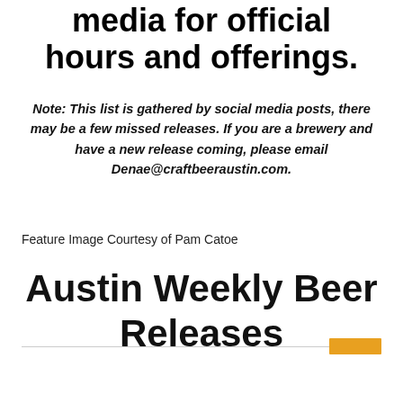media for official hours and offerings.
Note: This list is gathered by social media posts, there may be a few missed releases. If you are a brewery and have a new release coming, please email Denae@craftbeeraustin.com.
Feature Image Courtesy of Pam Catoe
Austin Weekly Beer Releases